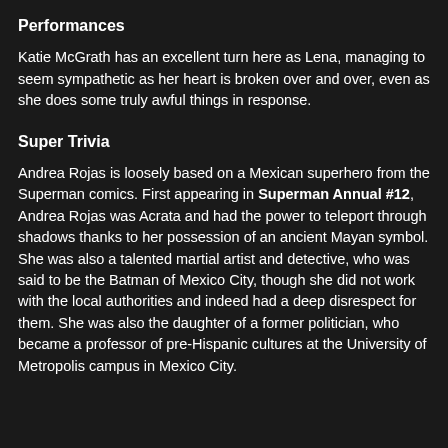Performances
Katie McGrath has an excellent turn here as Lena, managing to seem sympathetic as her heart is broken over and over, even as she does some truly awful things in response.
Super Trivia
Andrea Rojas is loosely based on a Mexican superhero from the Superman comics. First appearing in Superman Annual #12, Andrea Rojas was Acrata and had the power to teleport through shadows thanks to her possession of an ancient Mayan symbol. She was also a talented martial artist and detective, who was said to be the Batman of Mexico City, though she did not work with the local authorities and indeed had a deep disrespect for them. She was also the daughter of a former politician, who became a professor of pre-Hispanic cultures at the University of Metropolis campus in Mexico City.